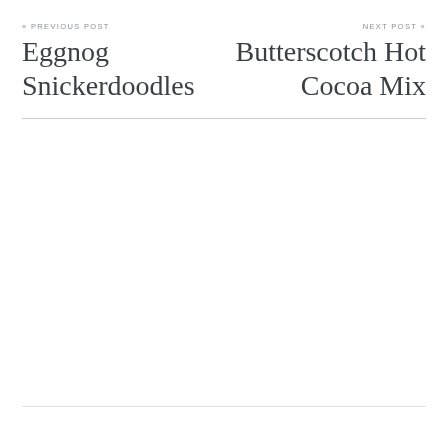« PREVIOUS POST
Eggnog Snickerdoodles
NEXT POST »
Butterscotch Hot Cocoa Mix